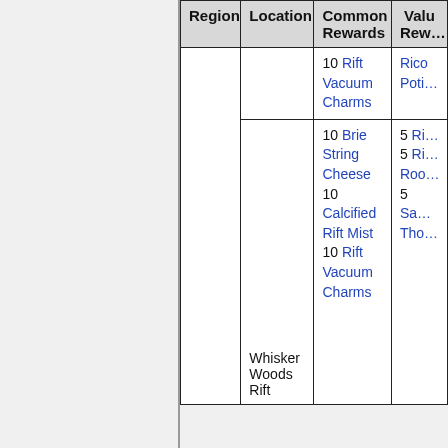| Region | Location | Common Rewards | Valu Rew… |
| --- | --- | --- | --- |
|  |  | 10 Rift Vacuum Charms | Rico Poti… |
|  | Whisker Woods Rift | 10 Brie String Cheese
10 Calcified Rift Mist
10 Rift Vacuum Charms | 5 Ri…
5 Ri… Roo…
5 Sa… Tho… |